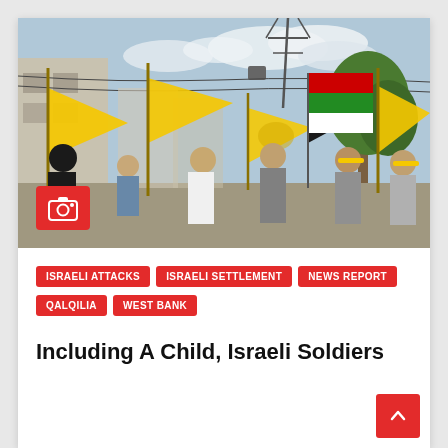[Figure (photo): Crowd of protesters marching in a street waving large yellow Fatah flags and Palestinian flags (red, green, black, white). People include men, children, and masked individuals. Buildings and trees visible in background with power lines and a large tower.]
ISRAELI ATTACKS
ISRAELI SETTLEMENT
NEWS REPORT
QALQILIA
WEST BANK
Including A Child, Israeli Soldiers